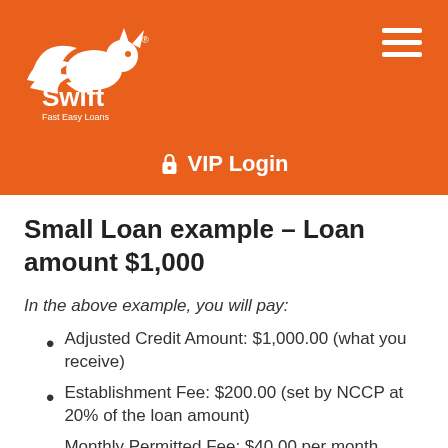[Figure (logo): Swift Fast Easy Loans logo — white fox/bird silhouette with text 'Swift' and 'Fast Easy Loans' on orange background]
VIP Login
Small Loan example – Loan amount $1,000
In the above example, you will pay:
Adjusted Credit Amount: $1,000.00 (what you receive)
Establishment Fee: $200.00 (set by NCCP at 20% of the loan amount)
Monthly Permitted Fee: $40.00 per month charged on the anniversary date of the loan